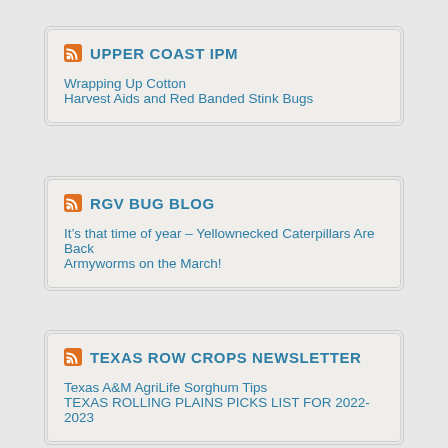UPPER COAST IPM
Wrapping Up Cotton
Harvest Aids and Red Banded Stink Bugs
RGV BUG BLOG
It’s that time of year – Yellownecked Caterpillars Are Back
Armyworms on the March!
TEXAS ROW CROPS NEWSLETTER
Texas A&M AgriLife Sorghum Tips
TEXAS ROLLING PLAINS PICKS LIST FOR 2022-2023